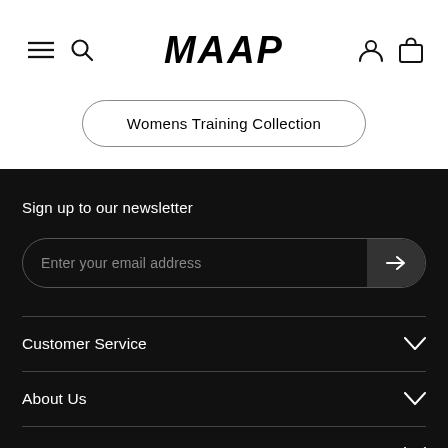MAAP
Womens Training Collection
Sign up to our newsletter
Enter your email address
Customer Service
About Us
Connect